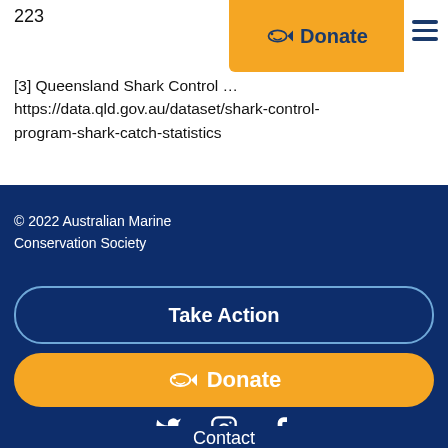223
[3] Queensland Shark Control … https://data.qld.gov.au/dataset/shark-control-program-shark-catch-statistics
© 2022 Australian Marine Conservation Society
Take Action
Donate
Contact
Jobs